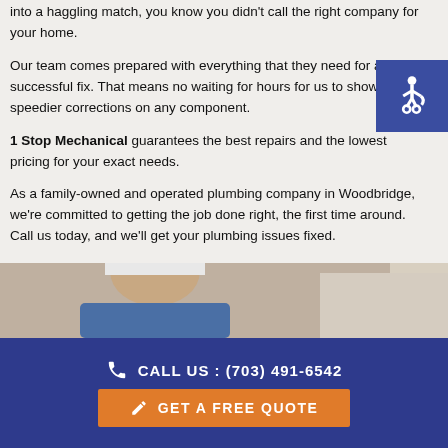into a haggling match, you know you didn't call the right company for your home.
Our team comes prepared with everything that they need for a successful fix. That means no waiting for hours for us to show up and speedier corrections on any component.
1 Stop Mechanical guarantees the best repairs and the lowest pricing for your exact needs.
As a family-owned and operated plumbing company in Woodbridge, we're committed to getting the job done right, the first time around. Call us today, and we'll get your plumbing issues fixed.
[Figure (photo): Photo strip showing a person (plumber/technician) wearing a hard hat]
CALL US : (703) 491-6542
GET A FREE QUOTE